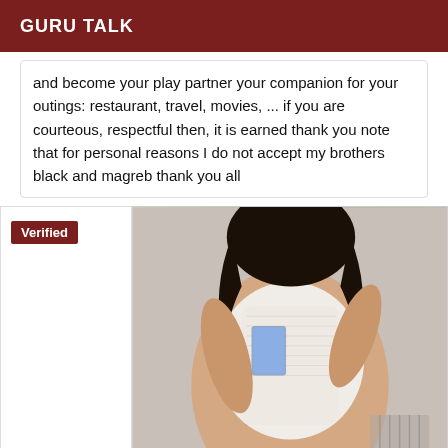GURU TALK
and become your play partner your companion for your outings: restaurant, travel, movies, ... if you are courteous, respectful then, it is earned thank you note that for personal reasons I do not accept my brothers black and magreb thank you all
[Figure (photo): Person wearing white lace lingerie, photo cropped at torso level, with a 'Verified' badge overlay in the top-left corner]